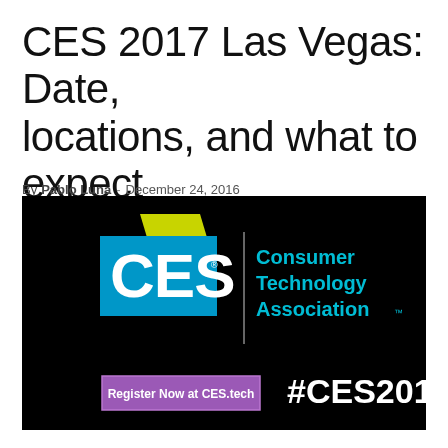CES 2017 Las Vegas: Date, locations, and what to expect
By Pablo Luna - December 24, 2016
[Figure (logo): CES 2017 logo on black background with Consumer Technology Association branding, Register Now at CES.tech button, and #CES2017 hashtag]